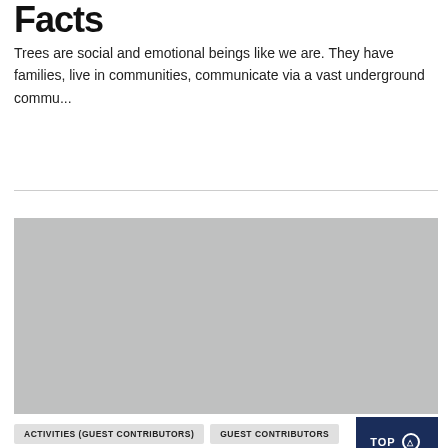Facts
Trees are social and emotional beings like we are. They have families, live in communities, communicate via a vast underground commu...
[Figure (photo): Gray placeholder image for an article about trees]
ACTIVITIES (GUEST CONTRIBUTORS)
GUEST CONTRIBUTORS
HEALTH & WELLBEING (GUEST CONTRIBUTORS)